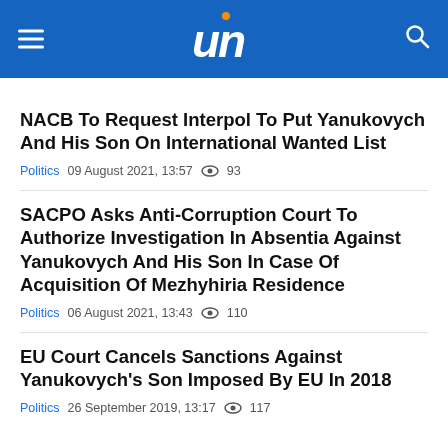UN – Politics – 02 September 2021, 17:53 – 243 views
NACB To Request Interpol To Put Yanukovych And His Son On International Wanted List
Politics  09 August 2021, 13:57  93
SACPO Asks Anti-Corruption Court To Authorize Investigation In Absentia Against Yanukovych And His Son In Case Of Acquisition Of Mezhyhiria Residence
Politics  06 August 2021, 13:43  110
EU Court Cancels Sanctions Against Yanukovych's Son Imposed By EU In 2018
Politics  26 September 2019, 13:17  117